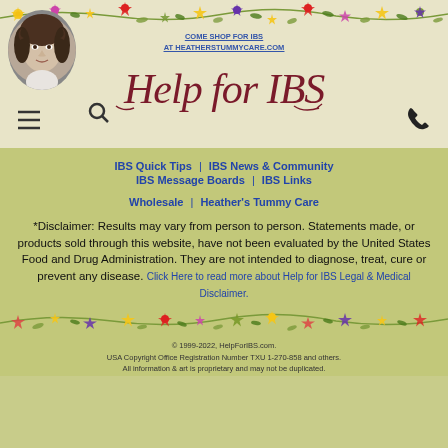[Figure (illustration): Decorative floral vine border at top of page with colorful flowers and leaves in yellow, green, purple, red on cream background]
[Figure (photo): Circular portrait photo of a woman with curly brown hair in black and white / sepia tone]
COME SHOP FOR IBS
AT HEATHERSTUMMYCARE.COM
[Figure (logo): Help for IBS cursive script logo in dark red/maroon color]
≡ 🔍   📞
IBS Quick Tips | IBS News & Community
IBS Message Boards | IBS Links
Wholesale | Heather's Tummy Care
*Disclaimer: Results may vary from person to person. Statements made, or products sold through this website, have not been evaluated by the United States Food and Drug Administration. They are not intended to diagnose, treat, cure or prevent any disease. Click Here to read more about Help for IBS Legal & Medical Disclaimer.
[Figure (illustration): Decorative floral vine border at bottom of page with colorful flowers and leaves]
© 1999-2022, HelpForIBS.com.
USA Copyright Office Registration Number TXU 1-270-858 and others.
All information & art is proprietary and may not be duplicated.